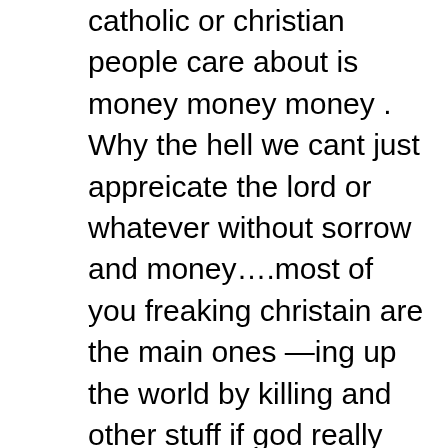catholic or christian people care about is money money money . Why the hell we cant just appreicate the lord or whatever without sorrow and money….most of you freaking christain are the main ones —ing up the world by killing and other stuff if god really love us he wouldnt make us cry . If all you people were so much into him then listen to him go ahead and be amish because oviously they are the main ones abiding the bible because eveyone does not follow the bible yall go out lying ,gossiping, not fasting,were more than one linen?, getting your ears pierced, getting tattos,slaying animals ,putting makeup on ,idolising celeberties, hating on people ,not praying everyday ,being greedy